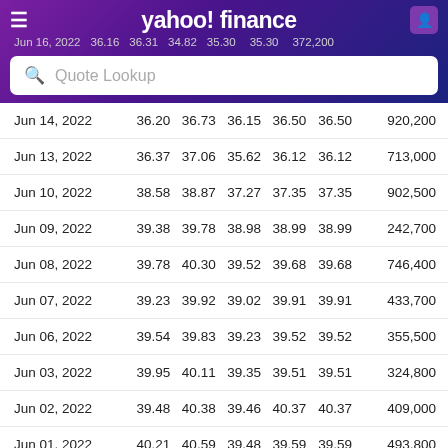yahoo! finance
Jun 16, 2022  36.16  36.31  34.82  35.30  35.30  372,200
| Date | Open | High | Low | Close* | Adj Close** | Volume |
| --- | --- | --- | --- | --- | --- | --- |
| Jun 14, 2022 | 36.20 | 36.73 | 36.15 | 36.50 | 36.50 | 920,200 |
| Jun 13, 2022 | 36.37 | 37.06 | 35.62 | 36.12 | 36.12 | 713,000 |
| Jun 10, 2022 | 38.58 | 38.87 | 37.27 | 37.35 | 37.35 | 902,500 |
| Jun 09, 2022 | 39.38 | 39.78 | 38.98 | 38.99 | 38.99 | 242,700 |
| Jun 08, 2022 | 39.78 | 40.30 | 39.52 | 39.68 | 39.68 | 746,400 |
| Jun 07, 2022 | 39.23 | 39.92 | 39.02 | 39.91 | 39.91 | 433,700 |
| Jun 06, 2022 | 39.54 | 39.83 | 39.23 | 39.52 | 39.52 | 355,500 |
| Jun 03, 2022 | 39.95 | 40.11 | 39.35 | 39.51 | 39.51 | 324,800 |
| Jun 02, 2022 | 39.48 | 40.38 | 39.46 | 40.37 | 40.37 | 409,000 |
| Jun 01, 2022 | 40.21 | 40.59 | 39.48 | 39.59 | 39.59 | 493,800 |